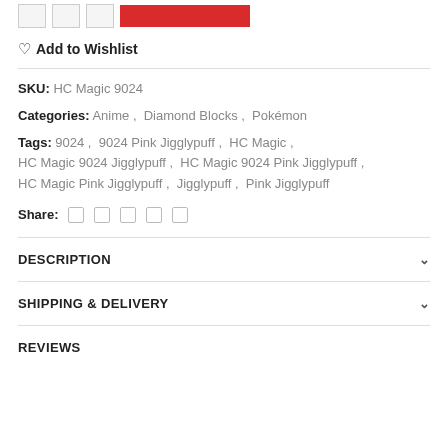Add to Wishlist
SKU: HC Magic 9024
Categories: Anime, Diamond Blocks, Pokémon
Tags: 9024, 9024 Pink Jigglypuff, HC Magic, HC Magic 9024 Jigglypuff, HC Magic 9024 Pink Jigglypuff, HC Magic Pink Jigglypuff, Jigglypuff, Pink Jigglypuff
Share:
DESCRIPTION
SHIPPING & DELIVERY
REVIEWS